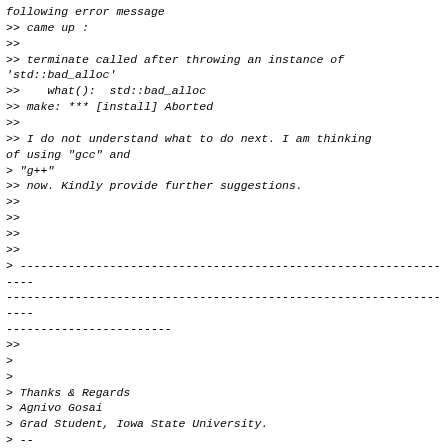following error message
>> came up :
>>
>> terminate called after throwing an instance of
'std::bad_alloc'
>>    what():  std::bad_alloc
>> make: *** [install] Aborted
>>
>> I do not understand what to do next. I am thinking
of using "gcc" and
> "g++"
>> now. Kindly provide further suggestions.
>>
>>
>>
>>
> -----------------------------------------------------------------
-------------------------------------------------------------------
------------------------
>>
>
>
> Thanks & Regards
> Agnivo Gosai
> Grad Student, Iowa State University.
> --
> Gromacs Users mailing list
>
> * Please search the archive at
http://www.gromacs.org/Support/Mailing_Lists/GMX-Users_List before posting!